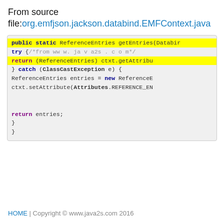From source file:org.emfjson.jackson.databind.EMFContext.java
[Figure (screenshot): Java code snippet showing a public static method getEntries(Databi...) with a try block returning (ReferenceEntries) ctxt.getAttribu... and a catch block for ClassCastException handling ReferenceEntries and ctxt.setAttribute(Attributes.REFERENCE_EN...) then returning entries. The return statement line is highlighted in yellow.]
HOME | Copyright © www.java2s.com 2016